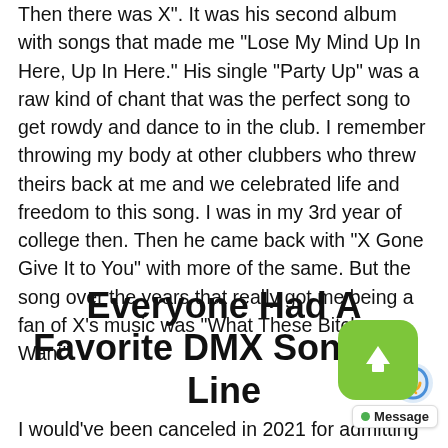Then there was X". It was his second album with songs that made me “Lose My Mind Up In Here, Up In Here.” His single “Party Up” was a raw kind of chant that was the perfect song to get rowdy and dance to in the club. I remember throwing my body at other clubbers who threw theirs back at me and we celebrated life and freedom to this song. I was in my 3rd year of college then. Then he came back with “X Gone Give It to You” with more of the same. But the song over the years that really got me being a fan of X’s music was “What These Bitches Want”
Everyone Had A Favorite DMX Song Or Line
I would’ve been canceled in 2021 for admitting that I